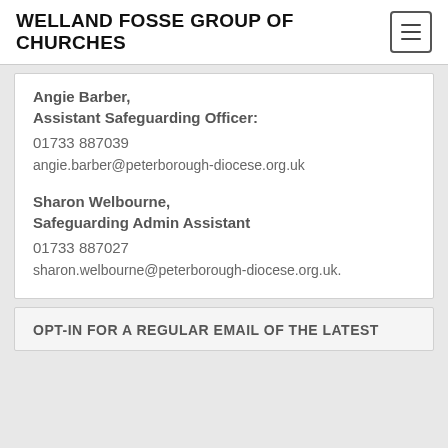WELLAND FOSSE GROUP OF CHURCHES
Angie Barber,
Assistant Safeguarding Officer:
01733 887039
angie.barber@peterborough-diocese.org.uk
Sharon Welbourne,
Safeguarding Admin Assistant
01733 887027
sharon.welbourne@peterborough-diocese.org.uk.
OPT-IN FOR A REGULAR EMAIL OF THE LATEST